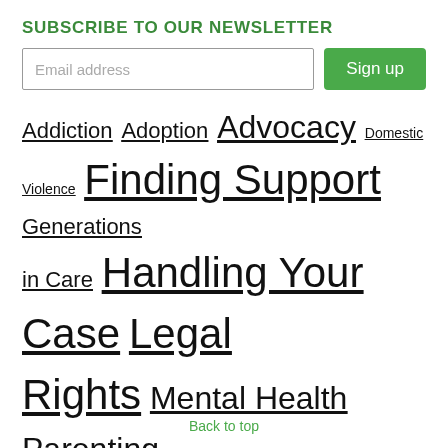SUBSCRIBE TO OUR NEWSLETTER
Email address
Sign up
Addiction Adoption Advocacy Domestic Violence Finding Support Generations in Care Handling Your Case Legal Rights Mental Health Parenting Parent Presentations Parent Support Resources Partners Poverty Reunification Service Planning Trauma
Back to top